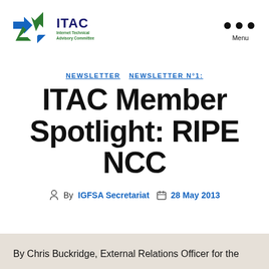[Figure (logo): ITAC Internet Technical Advisory Committee logo with blue and green stylized arrows/star icon]
Menu
NEWSLETTER  NEWSLETTER N°1:
ITAC Member Spotlight: RIPE NCC
By IGFSA Secretariat  28 May 2013
By Chris Buckridge, External Relations Officer for the